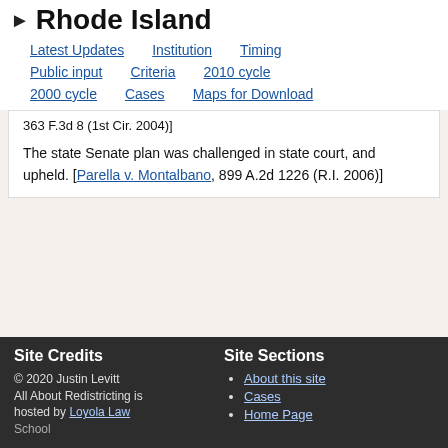Rhode Island
Latest Updates   Institution   Timing   Public input   Criteria   2010 cycle   2000 cycle   Cases   Maps for Download
363 F.3d 8 (1st Cir. 2004)]
The state Senate plan was challenged in state court, and upheld. [Parella v. Montalbano, 899 A.2d 1226 (R.I. 2006)]
Site Credits
© 2020 Justin Levitt
All About Redistricting is hosted by Loyola Law School
Site Sections
About this site
Cases
Home Page